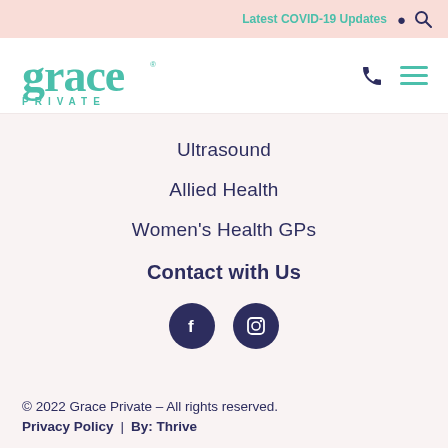Latest COVID-19 Updates
[Figure (logo): Grace Private logo in teal/mint color with stylized text]
Ultrasound
Allied Health
Women's Health GPs
Contact with Us
[Figure (other): Facebook and Instagram social media icons as dark navy circles]
© 2022 Grace Private – All rights reserved. Privacy Policy | By: Thrive